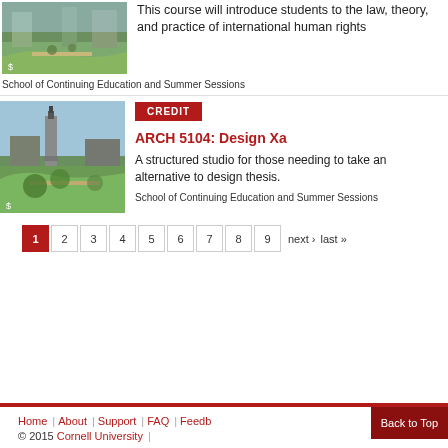[Figure (photo): Campus photo showing people walking on paths with green grass and trees]
This course will introduce students to the law, theory, and practice of international human rights
School of Continuing Education and Summer Sessions
[Figure (photo): Campus photo showing a clock tower (McGraw Tower) with trees in foreground]
CREDIT
ARCH 5104: Design Xa
A structured studio for those needing to take an alternative to design thesis.
School of Continuing Education and Summer Sessions
1 2 3 4 5 6 7 8 9 next › last »
Home | About | Support | FAQ | Feedback Back to Top © 2015 Cornell University |